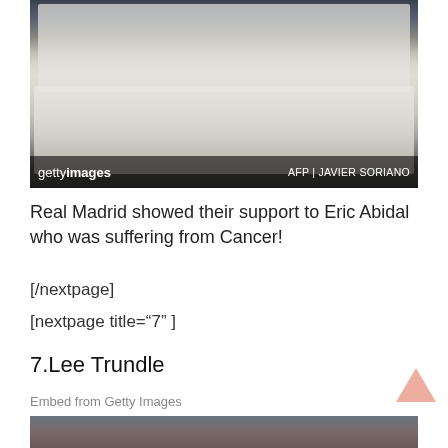[Figure (photo): Real Madrid team photo with players wearing 'Animo Abidal' and 'Get Well Soon Abidal' shirts in support of Eric Abidal, Getty Images photo credited to AFP | JAVIER SORIANO]
Real Madrid showed their support to Eric Abidal who was suffering from Cancer!
[/nextpage]
[nextpage title="7" ]
7.Lee Trundle
Embed from Getty Images
[Figure (photo): Partial photo at bottom of page, beginning of next image]